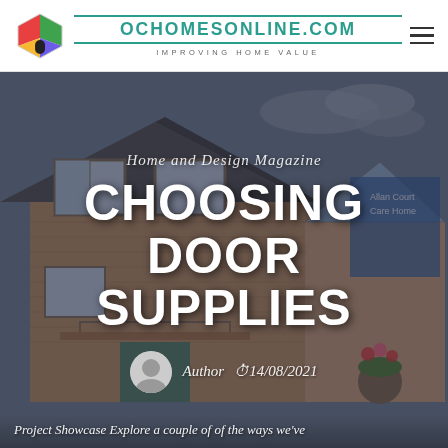OCHOMESONLINE.COM — IMPROVING HOME VALUE
[Figure (photo): Exterior photo of a brick residential house with conservatory extension, used as hero background image for a home and design magazine article]
Home and Design Magazine
CHOOSING DOOR SUPPLIES
Author   14/08/2021
Project Showcase Explore a couple of of the ways we've